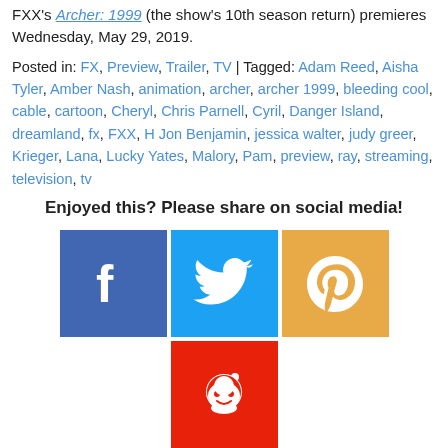FXX's Archer: 1999 (the show's 10th season return) premieres Wednesday, May 29, 2019.
Posted in: FX, Preview, Trailer, TV | Tagged: Adam Reed, Aisha Tyler, Amber Nash, animation, archer, archer 1999, bleeding cool, cable, cartoon, Cheryl, Chris Parnell, Cyril, Danger Island, dreamland, fx, FXX, H Jon Benjamin, jessica walter, judy greer, Krieger, Lana, Lucky Yates, Malory, Pam, preview, ray, streaming, television, tv
Enjoyed this? Please share on social media!
[Figure (infographic): Social media sharing buttons: Facebook (blue), Twitter (light blue), Pinterest (orange/yellow), Reddit (red)]